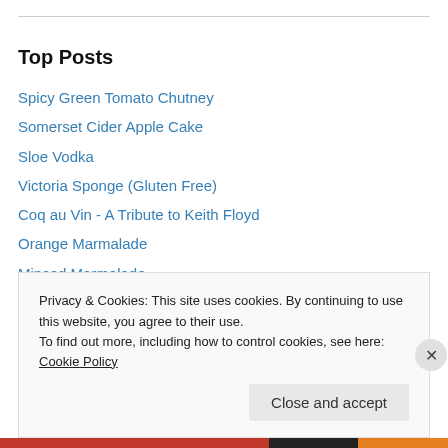Top Posts
Spicy Green Tomato Chutney
Somerset Cider Apple Cake
Sloe Vodka
Victoria Sponge (Gluten Free)
Coq au Vin - A Tribute to Keith Floyd
Orange Marmalade
Minced Marmalade
Spicy Crab Linguini
Fantastic Fish Pie
Satay Chicken
Privacy & Cookies: This site uses cookies. By continuing to use this website, you agree to their use.
To find out more, including how to control cookies, see here: Cookie Policy
Close and accept